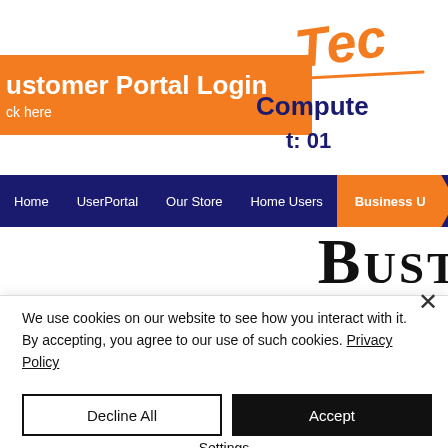Customer Portal Login
ck here
[Figure (logo): Tech Computers logo with orange script 'Tec' and dark blue 'Computers' text and phone number starting t: 01...]
Home | UserPortal | Our Store | Home Users | Business U...
BUST (partial business section heading, cropped)
We use cookies on our website to see how you interact with it. By accepting, you agree to our use of such cookies. Privacy Policy
Decline All
Accept
Settings